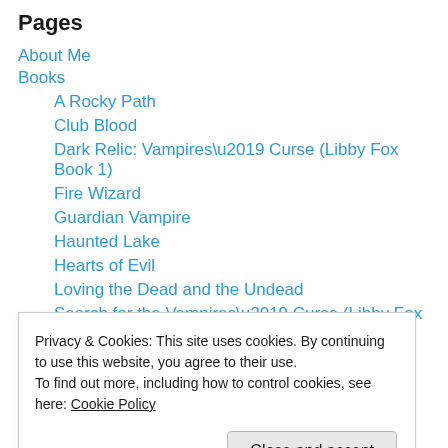Pages
About Me
Books
A Rocky Path
Club Blood
Dark Relic: Vampires’ Curse (Libby Fox Book 1)
Fire Wizard
Guardian Vampire
Haunted Lake
Hearts of Evil
Loving the Dead and the Undead
Search for the Vampires’ Curse (Libby Fox Book 3)
Secrets of the Wolf (Libby Fox Book 2)
Privacy & Cookies: This site uses cookies. By continuing to use this website, you agree to their use.
To find out more, including how to control cookies, see here: Cookie Policy
Contact Me